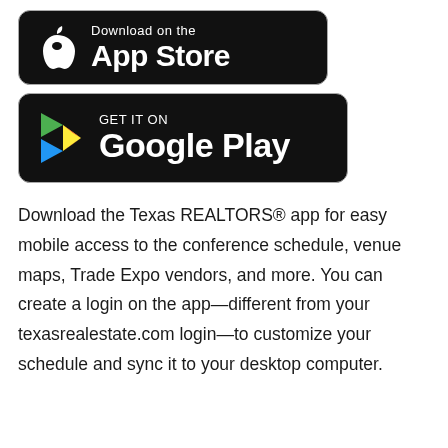[Figure (logo): Apple App Store download badge — black rounded rectangle with Apple logo icon on left and 'Download on the App Store' text in white on right]
[Figure (logo): Google Play download badge — black rounded rectangle with Google Play triangle logo icon on left and 'GET IT ON Google Play' text in white on right]
Download the Texas REALTORS® app for easy mobile access to the conference schedule, venue maps, Trade Expo vendors, and more. You can create a login on the app—different from your texasrealestate.com login—to customize your schedule and sync it to your desktop computer.